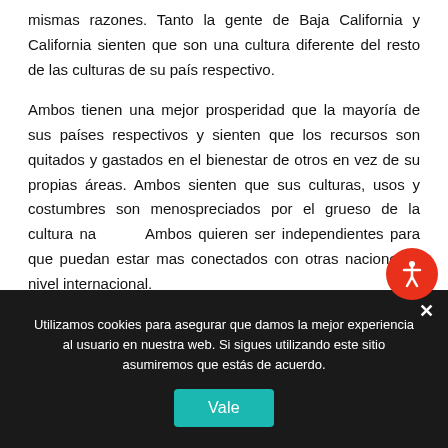mismas razones. Tanto la gente de Baja California y California sienten que son una cultura diferente del resto de las culturas de su país respectivo.
Ambos tienen una mejor prosperidad que la mayoría de sus países respectivos y sienten que los recursos son quitados y gastados en el bienestar de otros en vez de su propias áreas. Ambos sienten que sus culturas, usos y costumbres son menospreciados por el grueso de la cultura na... Ambos quieren ser independientes para que puedan estar mas conectados con otras naciones a nivel internacional.
Utilizamos cookies para asegurar que damos la mejor experiencia al usuario en nuestra web. Si sigues utilizando este sitio asumiremos que estás de acuerdo.